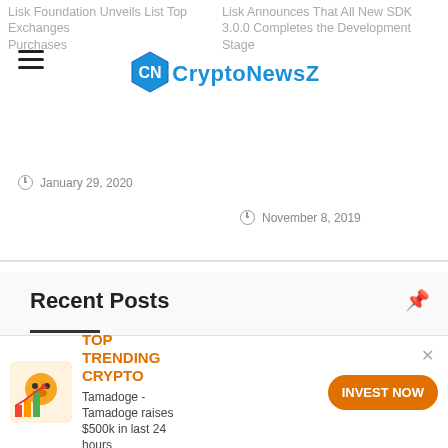CryptoNewsZ
Lisk Foundation Unveils List Top Exchanges Purchases
Lisk Announces That All New SDK 3.0.0 Completes the Development Stage
January 29, 2020
November 8, 2019
Recent Posts
MEXC Firstly Announces ZERO Maker Fee Promotion for All Spot Trades
11 hours ago
Immunicorn Finance Sets Higher
TOP TRENDING CRYPTO
Tamadoge - Tamadoge raises $500k in last 24 hours
INVEST NOW